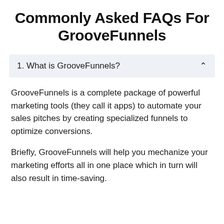Commonly Asked FAQs For GrooveFunnels
1. What is GrooveFunnels?
GrooveFunnels is a complete package of powerful marketing tools (they call it apps) to automate your sales pitches by creating specialized funnels to optimize conversions.
Briefly, GrooveFunnels will help you mechanize your marketing efforts all in one place which in turn will also result in time-saving.